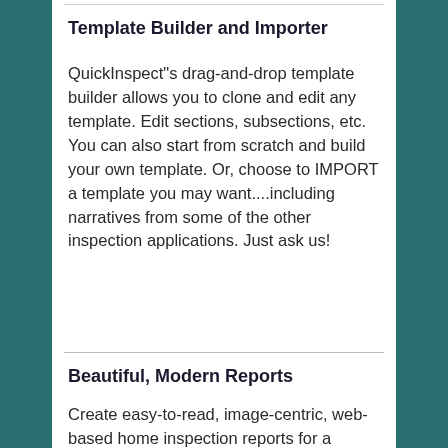Template Builder and Importer
QuickInspect"s drag-and-drop template builder allows you to clone and edit any template. Edit sections, subsections, etc. You can also start from scratch and build your own template. Or, choose to IMPORT a template you may want....including narratives from some of the other inspection applications. Just ask us!
Beautiful, Modern Reports
Create easy-to-read, image-centric, web-based home inspection reports for a modern audience. Send online reports and generate beautiful PDF reports that your clients and